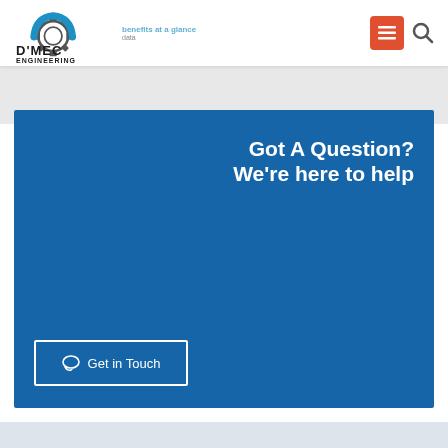[Figure (logo): D'MEC Engineering logo with gear and arch graphic, blue and dark text]
benefits at a glance
data
[Figure (infographic): Blue call-to-action banner reading 'Got A Question? We're here to help' with a 'Get in Touch' button outlined in white]
Got A Question? We're here to help
Get in Touch